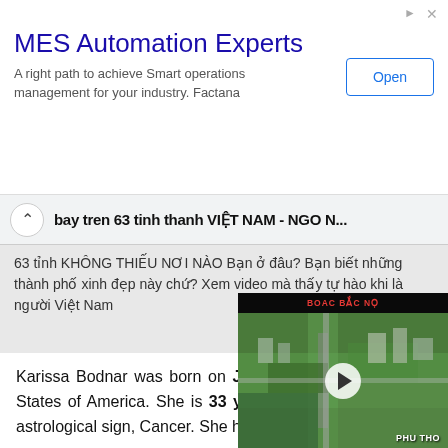[Figure (screenshot): Advertisement banner for MES Automation Experts with title, subtitle text 'A right path to achieve Smart operations management for your industry. Factana', and an Open button. Small arrow/close icons top right.]
bay tren 63 tinh thanh VIỆT NAM - NGO N...
63 tỉnh KHÔNG THIẾU NƠI NÀO Bạn ở đâu? Bạn biết những thành phố xinh đẹp này chứ? Xem video mà thấy tự hào khi là người Việt Nam
Karissa Bodnar was born on July 9, 1988, in the United States of America. She is 33 years old and is under the astrological sign, Cancer. She holds American nationality.
The name and information regarding Karissa's parents are not However, it is kn professional tenn related to Bodnar as her siblings, co and any other members is also not available
[Figure (screenshot): Floating video overlay showing aerial view of Vietnamese city with 'Bay trên 63 tỉnh t...' title, play button, BOAC BẮC NỌ header text, and PHU THO footer text]